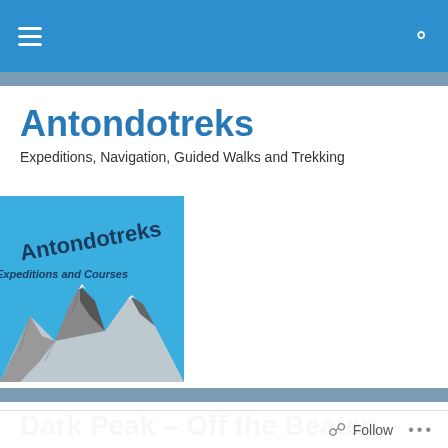Antondotreks – navigation bar with hamburger menu and search icon
Antondotreks
Expeditions, Navigation, Guided Walks and Trekking
[Figure (logo): Antondotreks logo – blue background with 'Antondotreks Expeditions and Courses' text and mountain illustration in black and white]
Dark Peak – Off the Beaten Path
Follow  •••